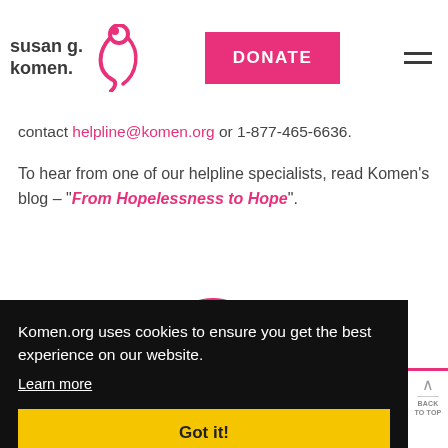[Figure (logo): Susan G. Komen logo with pink ribbon and organization name in bold lowercase text]
DONATE
contact helpline@komen.org or 1-877-465-6636.
To hear from one of our helpline specialists, read Komen’s blog – “From Hopelessness to Hope”.
[Figure (illustration): Partial pink circle arc visible behind cookie banner]
Komen.org uses cookies to ensure you get the best experience on our website.
Learn more
Got it!
BACK
TO TOP